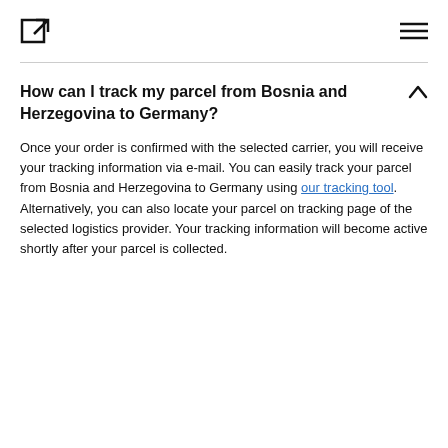[logo icon] [hamburger menu]
How can I track my parcel from Bosnia and Herzegovina to Germany?
Once your order is confirmed with the selected carrier, you will receive your tracking information via e-mail. You can easily track your parcel from Bosnia and Herzegovina to Germany using our tracking tool. Alternatively, you can also locate your parcel on tracking page of the selected logistics provider. Your tracking information will become active shortly after your parcel is collected.